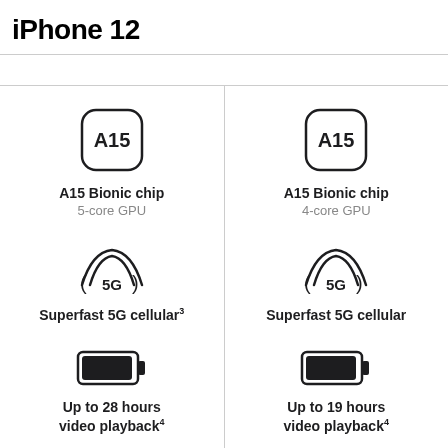iPhone 12
[Figure (illustration): A15 chip icon (rounded square with A15 label) for left column]
A15 Bionic chip
5-core GPU
[Figure (illustration): A15 chip icon (rounded square with A15 label) for right column]
A15 Bionic chip
4-core GPU
[Figure (illustration): 5G wireless signal icon for left column]
Superfast 5G cellular³
[Figure (illustration): 5G wireless signal icon for right column]
Superfast 5G cellular
[Figure (illustration): Battery icon (full/charged) for left column]
Up to 28 hours
video playback⁴
[Figure (illustration): Battery icon for right column]
Up to 19 hours
video playback⁴